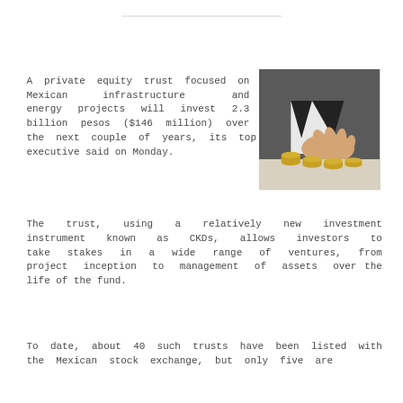A private equity trust focused on Mexican infrastructure and energy projects will invest 2.3 billion pesos ($146 million) over the next couple of years, its top executive said on Monday.
[Figure (photo): A businessman's hand stacking coins on a table, symbolizing investment or savings.]
The trust, using a relatively new investment instrument known as CKDs, allows investors to take stakes in a wide range of ventures, from project inception to management of assets over the life of the fund.
To date, about 40 such trusts have been listed with the Mexican stock exchange, but only five are